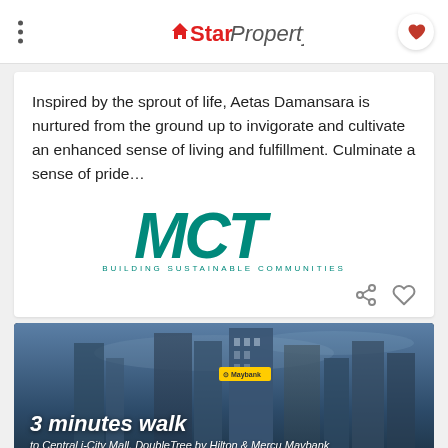StarProperty
Inspired by the sprout of life, Aetas Damansara is nurtured from the ground up to invigorate and cultivate an enhanced sense of living and fulfillment. Culminate a sense of pride…
[Figure (logo): MCT logo with tagline 'BUILDING SUSTAINABLE COMMUNITIES' in teal/green color]
[Figure (photo): City skyline banner showing tall buildings with text '3 minutes walk to Central i-City Mall, DoubleTree by Hilton & Mercu Maybank' and a Maybank badge]